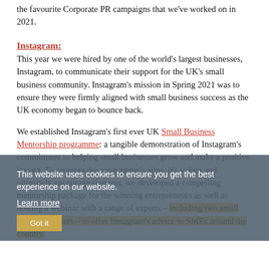the favourite Corporate PR campaigns that we've worked on in 2021.
Instagram:
This year we were hired by one of the world's largest businesses, Instagram, to communicate their support for the UK's small business community. Instagram's mission in Spring 2021 was to ensure they were firmly aligned with small business success as the UK economy began to bounce back.
We established Instagram's first ever UK Small Business Mentorship programme: a tangible demonstration of Instagram's commitment to helping small businesses grow and make a positive impact. To promote the programme's aims, its values and ultimately encourage sign ups, we developed a compelling mentorship package for the winning entrepreneurs as well as hosting a webinar with a range of experts – including two small business owners – to offer Instagram's advice to SMEs around the country.
This website uses cookies to ensure you get the best experience on our website.
Learn more
Got it